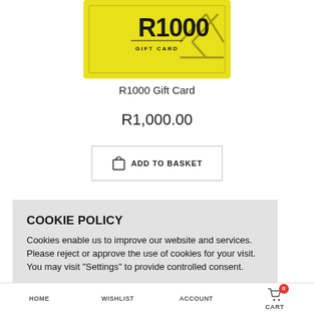[Figure (illustration): Yellow R1000 Gift Card with bold R1000 text and geometric pattern]
R1000 Gift Card
R1,000.00
ADD TO BASKET
COOKIE POLICY
Cookies enable us to improve our website and services. Please reject or approve the use of cookies for your visit. You may visit "Settings" to provide controlled consent.
Settings  Accept  Reject
HOME    WISHLIST    ACCOUNT    CART